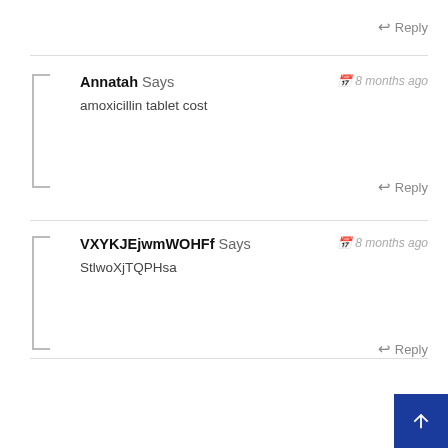↩ Reply
Annatah Says — 8 months ago
amoxicillin tablet cost
↩ Reply
VXYKJEjwmWOHFf Says — 8 months ago
StlwoXjTQPHsa
↩ Reply
Paultah Says — 8 months ago
where to buy ivermectin cream
↩ Reply
JcrlOgLV Says — 8 months ago